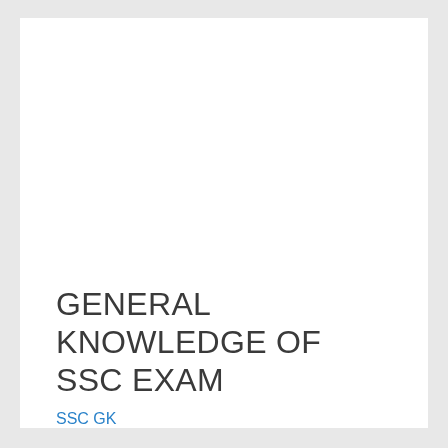GENERAL KNOWLEDGE OF SSC EXAM
SSC GK